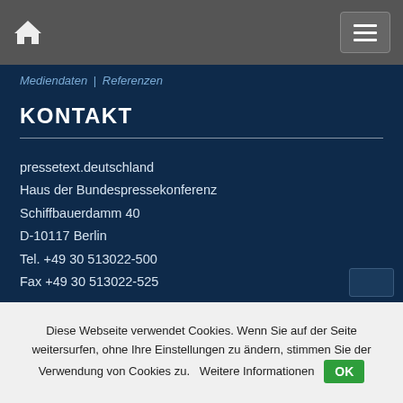Mediendaten | Referenzen
KONTAKT
pressetext.deutschland
Haus der Bundespressekonferenz
Schiffbauerdamm 40
D-10117 Berlin
Tel. +49 30 513022-500
Fax +49 30 513022-525
pressetext.austria
Josefstädter Straße 44
A-1080 Wien
Tel. +43 1 81140-0
Diese Webseite verwendet Cookies. Wenn Sie auf der Seite weitersurfen, ohne Ihre Einstellungen zu ändern, stimmen Sie der Verwendung von Cookies zu.  Weitere Informationen  OK